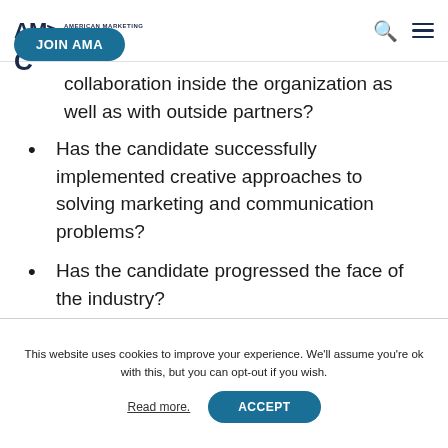AMA> AMERICAN MARKETING ASSOCIATION | JOIN AMA
collaboration inside the organization as well as with outside partners?
Has the candidate successfully implemented creative approaches to solving marketing and communication problems?
Has the candidate progressed the face of the industry?
This website uses cookies to improve your experience. We'll assume you're ok with this, but you can opt-out if you wish.
Read more. | ACCEPT